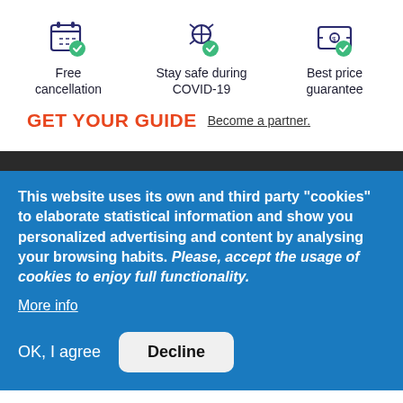[Figure (infographic): Three benefit icons in a row: calendar with checkmark (Free cancellation), shield with COVID-19 bug and checkmark (Stay safe during COVID-19), and ticket with checkmark (Best price guarantee)]
Free cancellation
Stay safe during COVID-19
Best price guarantee
[Figure (logo): GET YOUR GUIDE logo in orange/red uppercase letters followed by 'Become a partner.' link text]
This website uses its own and third party "cookies" to elaborate statistical information and show you personalized advertising and content by analysing your browsing habits. Please, accept the usage of cookies to enjoy full functionality.
More info
OK, I agree
Decline